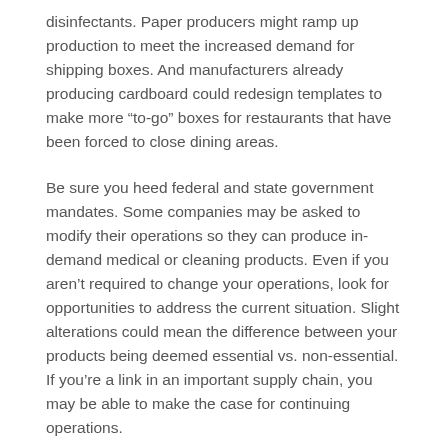disinfectants. Paper producers might ramp up production to meet the increased demand for shipping boxes. And manufacturers already producing cardboard could redesign templates to make more “to-go” boxes for restaurants that have been forced to close dining areas.
Be sure you heed federal and state government mandates. Some companies may be asked to modify their operations so they can produce in-demand medical or cleaning products. Even if you aren’t required to change your operations, look for opportunities to address the current situation. Slight alterations could mean the difference between your products being deemed essential vs. non-essential. If you’re a link in an important supply chain, you may be able to make the case for continuing operations.